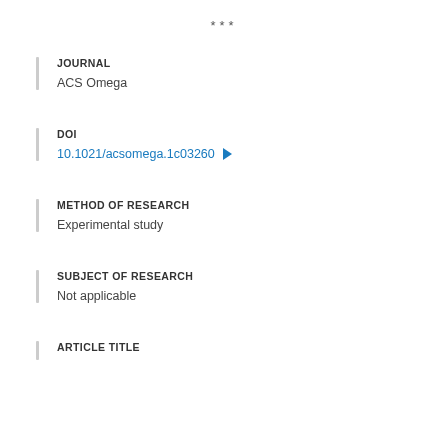***
JOURNAL
ACS Omega
DOI
10.1021/acsomega.1c03260
METHOD OF RESEARCH
Experimental study
SUBJECT OF RESEARCH
Not applicable
ARTICLE TITLE